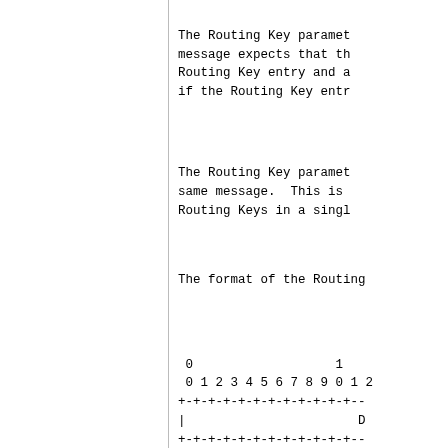The Routing Key paramet
message expects that th
Routing Key entry and a
if the Routing Key entr
The Routing Key paramet
same message.  This is
Routing Keys in a singl
The format of the Routing
[Figure (engineering-diagram): Bit field diagram showing format of the Routing Key parameter. Shows bit positions 0-1 across top rows, with field rows showing D, Rout, and Traff fields separated by +-+-+- dividers.]